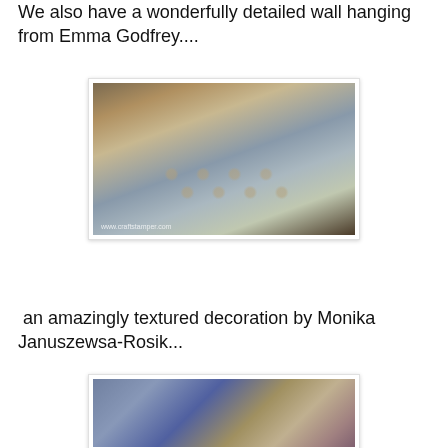We also have a wonderfully detailed wall hanging from Emma Godfrey....
[Figure (photo): Close-up photo of a detailed wall hanging with honeycomb texture and stars, credited to www.craftstamper.com]
an amazingly textured decoration by Monika Januszewsa-Rosik...
[Figure (photo): Close-up photo of a textured decoration with blue and purple tones, beads and organic textures]